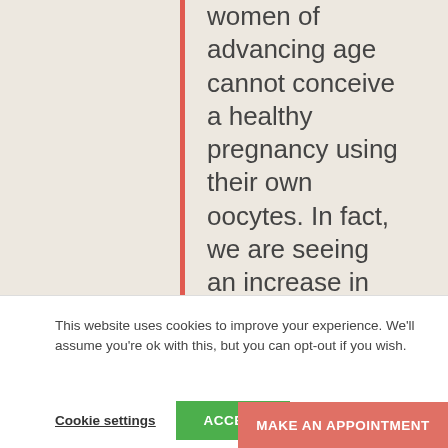women of advancing age cannot conceive a healthy pregnancy using their own oocytes. In fact, we are seeing an increase in the number of patients using donor eggs as an increasing number of women understand the impact of age on fertility.
This website uses cookies to improve your experience. We'll assume you're ok with this, but you can opt-out if you wish.
Cookie settings
ACCEPT
MAKE AN APPOINTMENT